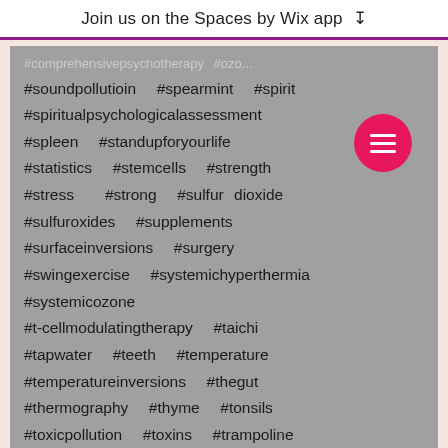Join us on the Spaces by Wix app
#soundpollutioin #spearmint #spirit #spiritualpsychologicalassessment #spleen #standupforyourlife #statistics #stemcells #strength #stress #strong #sulfur dioxide #sulfuroxides #supplements #surfaceinversions #surgery #swingexercise #systemichyperthermia #systemicozone #t-cellmodulatingtherapy #taichi #tapwater #teeth #temperature #temperatureinversions #thegut #thermography #thyme #tonsils #toxicpollution #toxins #trampoline